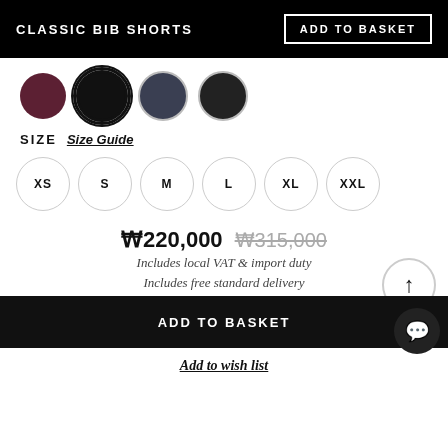CLASSIC BIB SHORTS
ADD TO BASKET
[Figure (other): Four color swatches: burgundy, black (selected with ring), navy/dark blue, black]
SIZE  Size Guide
XS
S
M
L
XL
XXL
₩220,000  ₩315,000
Includes local VAT & import duty
Includes free standard delivery
ADD TO BASKET
Add to wish list